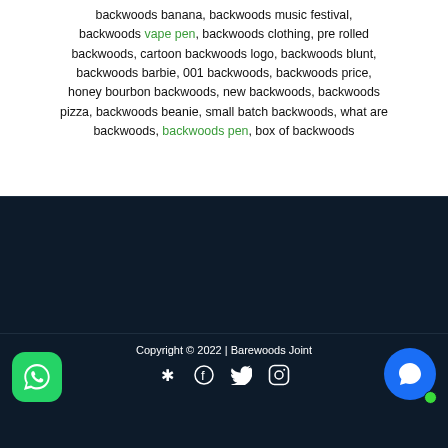backwoods banana, backwoods music festival, backwoods vape pen, backwoods clothing, pre rolled backwoods, cartoon backwoods logo, backwoods blunt, backwoods barbie, 001 backwoods, backwoods price, honey bourbon backwoods, new backwoods, backwoods pizza, backwoods beanie, small batch backwoods, what are backwoods, backwoods pen, box of backwoods
Copyright © 2022 | Barewoods Joint